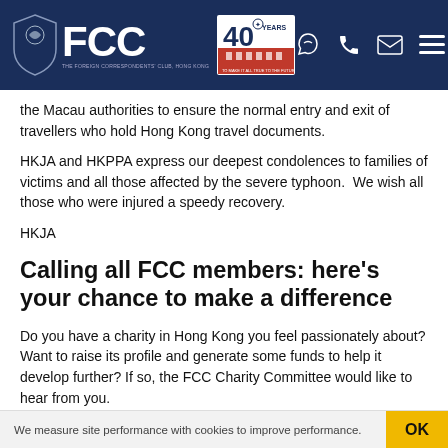FCC - Foreign Correspondents' Club, Hong Kong
the Macau authorities to ensure the normal entry and exit of travellers who hold Hong Kong travel documents.
HKJA and HKPPA express our deepest condolences to families of victims and all those affected by the severe typhoon.  We wish all those who were injured a speedy recovery.
HKJA
Calling all FCC members: here's your chance to make a difference
Do you have a charity in Hong Kong you feel passionately about? Want to raise its profile and generate some funds to help it develop further? If so, the FCC Charity Committee would like to hear from you.
A key to the development of the FCC's charity programme is to encourage as many members as possible to get involved in the charities we support, including nominating our chosen charities.
We measure site performance with cookies to improve performance. OK